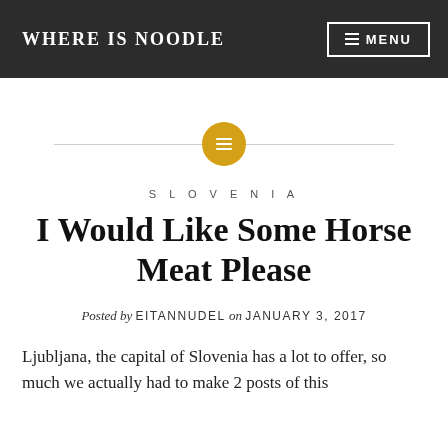WHERE IS NOODLE
[Figure (illustration): Horizontal divider line with a golden/amber circle in the center containing a small lines/text icon]
SLOVENIA
I Would Like Some Horse Meat Please
Posted by EITANNUDEL on JANUARY 3, 2017
Ljubljana, the capital of Slovenia has a lot to offer, so much we actually had to make 2 posts of this